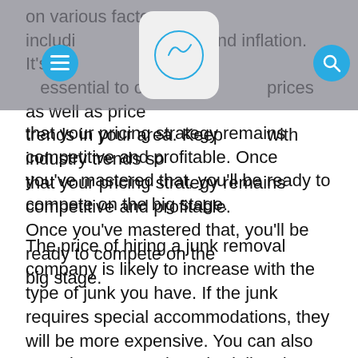on various factors, including demand and inflation. It's essential to check competitor prices as well as price trends in your area. Keep up with industry trends so that your pricing strategy remains competitive and profitable. Once you've mastered that, you'll be ready to compete on the big stage.
The price of hiring a junk removal company is likely to increase with the type of junk you have. If the junk requires special accommodations, they will be more expensive. You can also get a lower quote by scheduling the junk removal service during the slow season. Typically, the busiest season for junk removal is during spring and summer, so choosing a company during those seasons will ensure you get a competitive price. The more local the junk removal company is, the better.
Cost of renting a dumpster
One of the most expensive parts of hiring a dumpster for junk